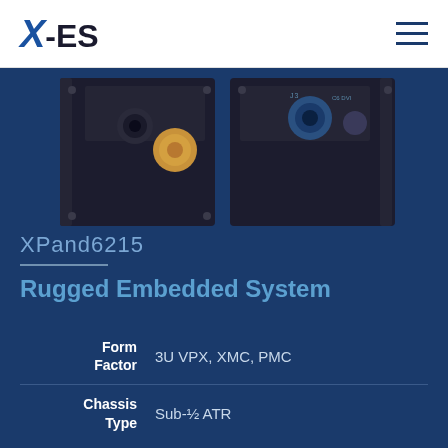X-ES
[Figure (photo): Rugged embedded computing hardware units, black enclosures with connectors and ports, shown against a dark blue background]
XPand6215
Rugged Embedded System
| Field | Value |
| --- | --- |
| Form Factor | 3U VPX, XMC, PMC |
| Chassis Type | Sub-½ ATR |